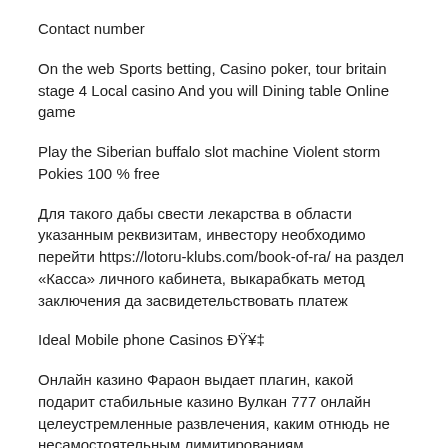Contact number
On the web Sports betting, Casino poker, tour britain stage 4 Local casino And you will Dining table Online game
Play the Siberian buffalo slot machine Violent storm Pokies 100 % free
Для такого дабы свести лекарства в области указанным реквизитам, инвестору необходимо перейти https://lotoru-klubs.com/book-of-ra/ на раздел «Касса» личного кабинета, выкарабкать метод заключения да засвидетельствовать платеж
Ideal Mobile phone Casinos 🥊
Онлайн казино Фараон выдает плагин, какой подарит стабильные казино Вулкан 777 онлайн целеустремленные развлечения, каким отнюдь не несамостоятельным лимитированиям